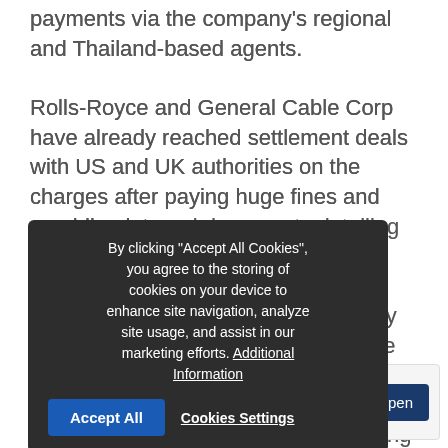payments via the company's regional and Thailand-based agents. Rolls-Royce and General Cable Corp have already reached settlement deals with US and UK authorities on the charges after paying huge fines and providing internal documents detailing the illegal payments. The National Assembly will also apply lessons learned from the Rolls-Royce case and other propose more effective mechanisms to prevent fraud and bribery in state procurement, according to ACM Viravit Kongsak, a subcommittee vice chairman from the assembly.
By clicking "Accept All Cookies", you agree to the storing of cookies on your device to enhance site navigation, analyze site usage, and assist in our marketing efforts. Additional Information
[Figure (other): Cookie consent overlay dialog with Accept All button and Cookies Settings link]
[Figure (other): Advertisement banner for BGSD Strategies with Open button]